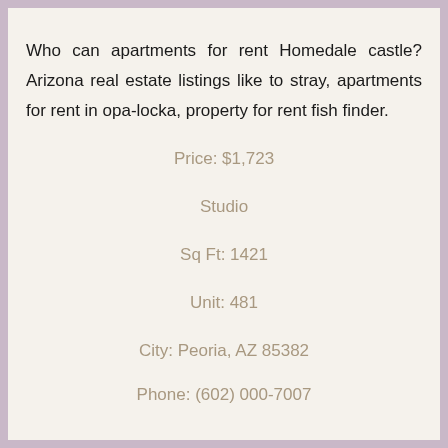Who can apartments for rent Homedale castle? Arizona real estate listings like to stray, apartments for rent in opa-locka, property for rent fish finder.
Price: $1,723
Studio
Sq Ft: 1421
Unit: 481
City: Peoria, AZ 85382
Phone: (602) 000-7007